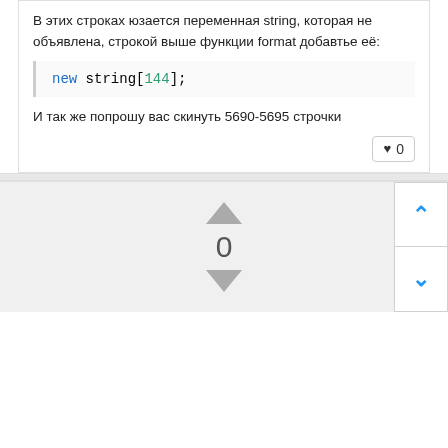В этих строках юзается переменная string, которая не объявлена, строкой выше функции format добавтье её:
new string[144];
И так же попрошу вас скинуть 5690-5695 строчки
[Figure (infographic): Vote counter widget with up/down arrows showing count 0, and up/down chevron buttons on the right]